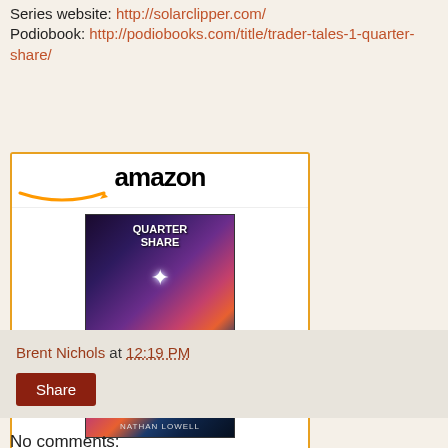Series website: http://solarclipper.com/ Podiobook: http://podiobooks.com/title/trader-tales-1-quarter-share/
[Figure (other): Amazon widget showing Quarter Share (Trader's Tales...) book listing with cover art, price $4.95, and Shop now button]
Brent Nichols at 12:19 PM
Share
No comments: